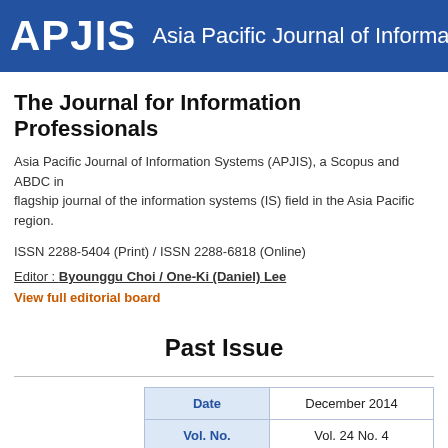APJIS Asia Pacific Journal of Information S
The Journal for Information Professionals
Asia Pacific Journal of Information Systems (APJIS), a Scopus and ABDC indexed journal, is the flagship journal of the information systems (IS) field in the Asia Pacific region.
ISSN 2288-5404 (Print) / ISSN 2288-6818 (Online)
Editor : Byounggu Choi / One-Ki (Daniel) Lee
View full editorial board
Past Issue
| Date | December 2014 |
| --- | --- |
| Vol. No. | Vol. 24 No. 4 |
| DOI | http://dx.doi.org/10 |